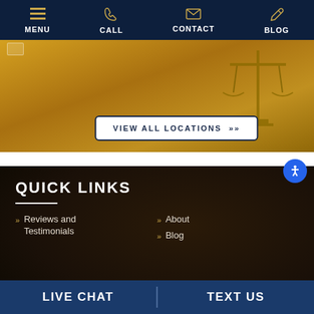MENU | CALL | CONTACT | BLOG
[Figure (screenshot): Hero image showing scales of justice on golden background with a white checkbox icon in top left]
VIEW ALL LOCATIONS »»
QUICK LINKS
»» Reviews and Testimonials
»» About
»» Blog
LIVE CHAT | TEXT US